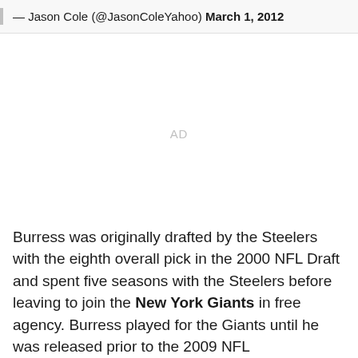— Jason Cole (@JasonColeYahoo) March 1, 2012
[Figure (other): Advertisement placeholder]
Burress was originally drafted by the Steelers with the eighth overall pick in the 2000 NFL Draft and spent five seasons with the Steelers before leaving to join the New York Giants in free agency. Burress played for the Giants until he was released prior to the 2009 NFL